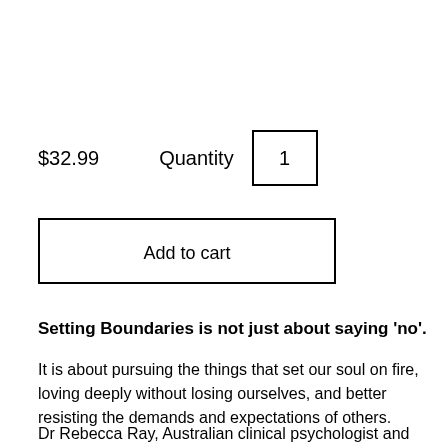$32.99   Quantity   1
Add to cart
Setting Boundaries is not just about saying 'no'.
It is about pursuing the things that set our soul on fire, loving deeply without losing ourselves, and better resisting the demands and expectations of others.
Dr Rebecca Ray, Australian clinical psychologist and author, shows how boundaries are the key to many of the emotional and emotional difficulties we encounter.